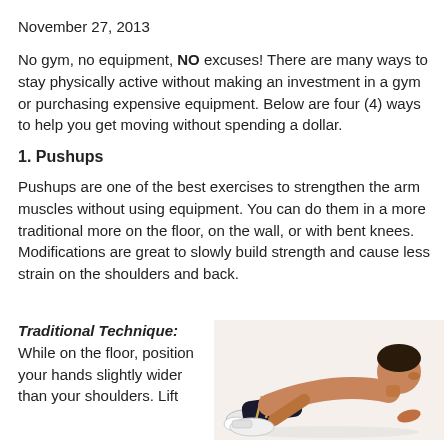November 27, 2013
No gym, no equipment, NO excuses! There are many ways to stay physically active without making an investment in a gym or purchasing expensive equipment. Below are four (4) ways to help you get moving without spending a dollar.
1. Pushups
Pushups are one of the best exercises to strengthen the arm muscles without using equipment. You can do them in a more traditional more on the floor, on the wall, or with bent knees. Modifications are great to slowly build strength and cause less strain on the shoulders and back.
Traditional Technique: While on the floor, position your hands slightly wider than your shoulders. Lift
[Figure (photo): A shirtless man performing a traditional pushup position on the floor, wearing dark shorts and white sneakers.]